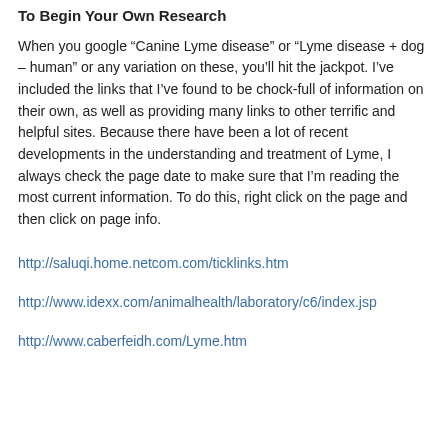To Begin Your Own Research
When you google “Canine Lyme disease” or “Lyme disease + dog – human” or any variation on these, you’ll hit the jackpot. I’ve included the links that I’ve found to be chock-full of information on their own, as well as providing many links to other terrific and helpful sites. Because there have been a lot of recent developments in the understanding and treatment of Lyme, I always check the page date to make sure that I’m reading the most current information. To do this, right click on the page and then click on page info.
http://saluqi.home.netcom.com/ticklinks.htm
http://www.idexx.com/animalhealth/laboratory/c6/index.jsp
http://www.caberfeidh.com/Lyme.htm